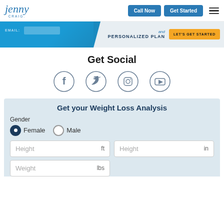Jenny Craig — Call Now | Get Started
[Figure (screenshot): Jenny Craig promotional banner with email input field, headline 'and PERSONALIZED PLAN', and a yellow 'LET'S GET STARTED' button]
Get Social
[Figure (infographic): Four social media icons in circles: Facebook, Twitter, Instagram, YouTube]
Get your Weight Loss Analysis
Gender
Female (selected) Male
Height ft  Height in
Weight lbs